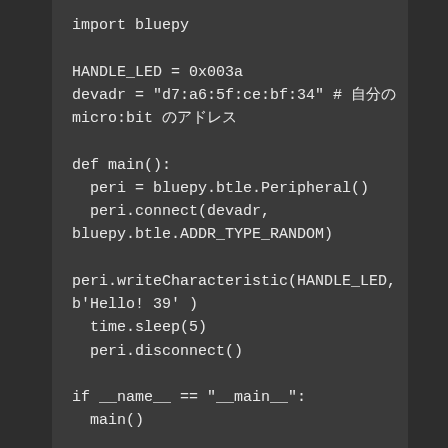import bluepy

HANDLE_LED = 0x003a
devadr = "d7:a6:5f:ce:bf:34" # 自分の
micro:bit のアドレス

def main():
    peri = bluepy.btle.Peripheral()
    peri.connect(devadr,
bluepy.btle.ADDR_TYPE_RANDOM)

peri.writeCharacteristic(HANDLE_LED,
b'Hello! 39' )
    time.sleep(5)
    peri.disconnect()

if __name__ == "__main__":
    main()